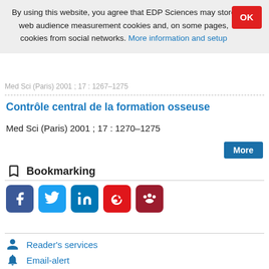By using this website, you agree that EDP Sciences may store web audience measurement cookies and, on some pages, cookies from social networks. More information and setup
Med Sci (Paris) 2001 ; 17 : 1267–1275
Contrôle central de la formation osseuse
Med Sci (Paris) 2001 ; 17 : 1270–1275
Bookmarking
Reader's services
Email-alert